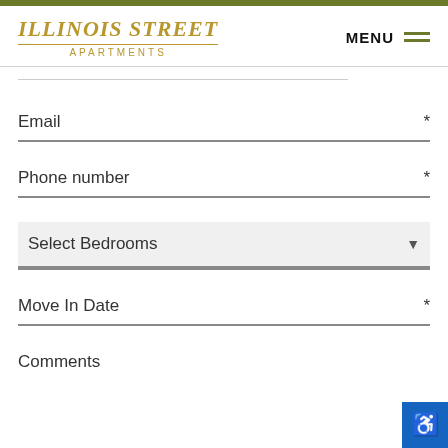ILLINOIS STREET APARTMENTS
Email *
Phone number *
Select Bedrooms
Move In Date *
Comments